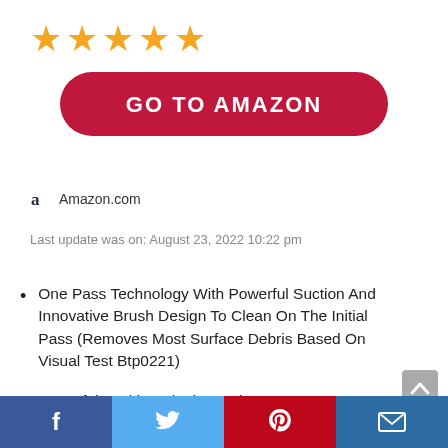[Figure (other): Five gold star rating icons]
[Figure (other): Red rounded button with white bold text 'GO TO AMAZON']
Amazon.com
Last update was on: August 23, 2022 10:22 pm
One Pass Technology With Powerful Suction And Innovative Brush Design To Clean On The Initial Pass (Removes Most Surface Debris Based On Visual Test Btp0221)
Powerful, Multi-Cyclonic Suction System For Lasting Suction That Captures And Keeps Dirt In The Bin, Where It Belongs
[Figure (other): Social media footer bar with Facebook, Twitter, Pinterest, and email icons]